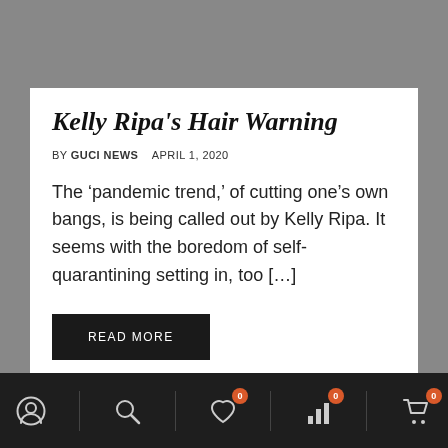Kelly Ripa's Hair Warning
BY GUCI NEWS   APRIL 1, 2020
The ‘pandemic trend,’ of cutting one’s own bangs, is being called out by Kelly Ripa. It seems with the boredom of self-quarantining setting in, too [...]
READ MORE